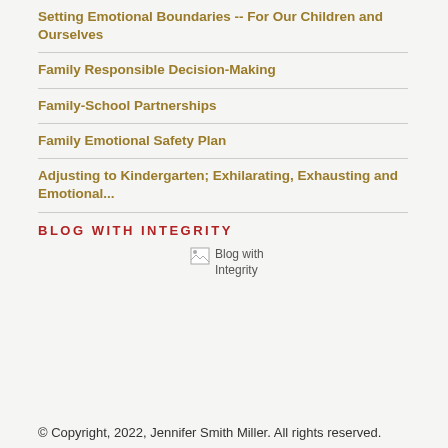Setting Emotional Boundaries -- For Our Children and Ourselves
Family Responsible Decision-Making
Family-School Partnerships
Family Emotional Safety Plan
Adjusting to Kindergarten; Exhilarating, Exhausting and Emotional...
BLOG WITH INTEGRITY
[Figure (other): Blog with Integrity badge image (broken/unloaded image placeholder)]
© Copyright, 2022, Jennifer Smith Miller. All rights reserved.